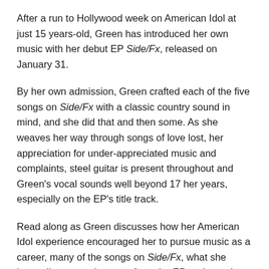After a run to Hollywood week on American Idol at just 15 years-old, Green has introduced her own music with her debut EP Side/Fx, released on January 31.
By her own admission, Green crafted each of the five songs on Side/Fx with a classic country sound in mind, and she did that and then some. As she weaves her way through songs of love lost, her appreciation for under-appreciated music and complaints, steel guitar is present throughout and Green's vocal sounds well beyond 17 her years, especially on the EP's title track.
Read along as Green discusses how her American Idol experience encouraged her to pursue music as a career, many of the songs on Side/Fx, what she hopes listeners take away from the EP and more!